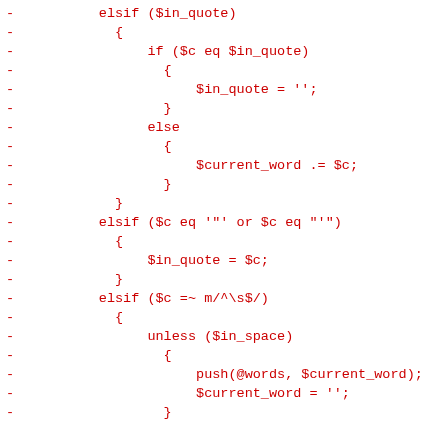Code diff showing Perl parsing logic with elsif/if/else blocks handling quote detection and word splitting
[Figure (other): Diff of Perl code showing removed lines (marked with -) in red, containing elsif ($in_quote), if ($c eq $in_quote), $in_quote = ''; else, $current_word .= $c;, elsif ($c eq '"' or $c eq "'"), $in_quote = $c; elsif ($c =~ m/^\s$/), unless ($in_space), push(@words, $current_word); $current_word = '';]